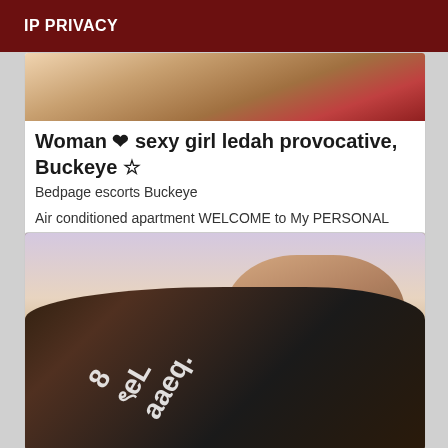IP PRIVACY
[Figure (photo): Partial photo visible at top of card, showing a person in a room]
Woman ❤ sexy girl ledah provocative, Buckeye ☆
Bedpage escorts Buckeye
Air conditioned apartment WELCOME to My PERSONAL Page For virtual and real content (
[Figure (photo): Photo of a woman with dark hair wearing a black outfit, leaning forward, with a watermark overlay]